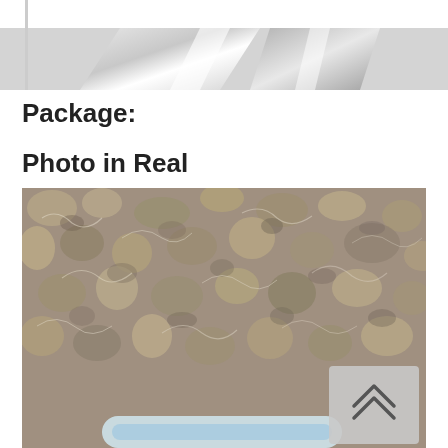[Figure (photo): Top portion of a product photo showing metallic/silver diagonal stripes on white background, partially cropped]
Package:
Photo in Real
[Figure (photo): Real photo of a product (appears to be a curved item with blue/white detail at bottom) placed on a shaggy textured carpet/rug with beige and grey tones. A back-to-top button overlay is visible in the lower right corner.]